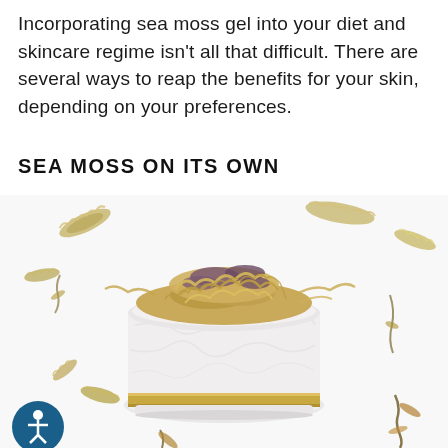Incorporating sea moss gel into your diet and skincare regime isn't all that difficult. There are several ways to reap the benefits for your skin, depending on your preferences.
SEA MOSS ON ITS OWN
[Figure (photo): A white marble mortar bowl filled with dried sea moss (tan and purple colored), placed on a white background with scattered dried sea moss pieces around it. The bowl has a gold band near the bottom.]